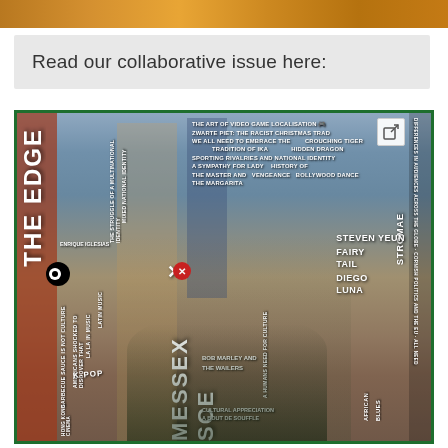[Figure (photo): Top strip image showing orange/warm colored photo, partially cropped]
Read our collaborative issue here:
[Figure (photo): Magazine cover for 'The Edge x Messex Scene' collaborative issue featuring K-pop group BTS on the cover with various article titles including: The Art of Video Game Localisation, Zwarte Piet: The Racist Christmas Tradition, We All Need to Embrace the Tradition of IKA, Sporting Rivalries and National Identity, A Sympathy for Lady Vengeance, The Master and The Margarita, Crouching Tiger Hidden Dragon, History of Bollywood Dance, Steven Yeun, Fairy Tail, Diego Luna, Bob Marley and The Wailers, Cultural Appreciation, A Bout de Souffle, Stromae, Blues, African, Differences in Audiences Across the Globe, Cornish Politics and the EU, Latin Music, La La in Music, Barbecue Sauce is Not Culture, Americans Shocked to Discover That, Mixed Nationality Identity, The Struggle of a Multinational Identity, K-pop, Hong Kong Cinema]